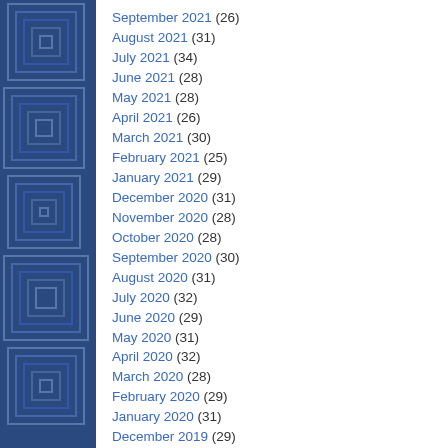[Figure (illustration): Blue decorative sidebar with geometric maze/square pattern]
September 2021 (26)
August 2021 (31)
July 2021 (34)
June 2021 (28)
May 2021 (28)
April 2021 (26)
March 2021 (30)
February 2021 (25)
January 2021 (29)
December 2020 (31)
November 2020 (28)
October 2020 (28)
September 2020 (30)
August 2020 (31)
July 2020 (32)
June 2020 (29)
May 2020 (31)
April 2020 (32)
March 2020 (28)
February 2020 (29)
January 2020 (31)
December 2019 (29)